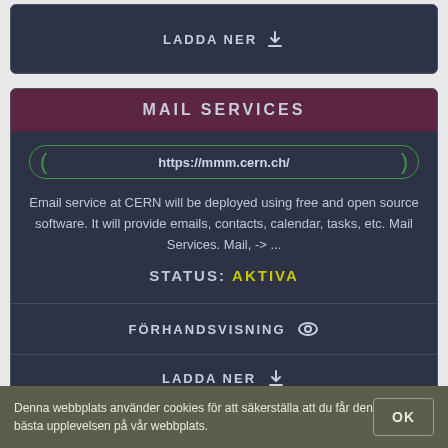LADDA NER
MAIL SERVICES
https://mmm.cern.ch/
Email service at CERN will be deployed using free and open source software. It will provide emails, contacts, calendar, tasks, etc. Mail Services. Mail, -> ...
STATUS: AKTIVA
FÖRHANDSVISNING
LADDA NER
Denna webbplats använder cookies för att säkerställa att du får den bästa upplevelsen på vår webbplats.